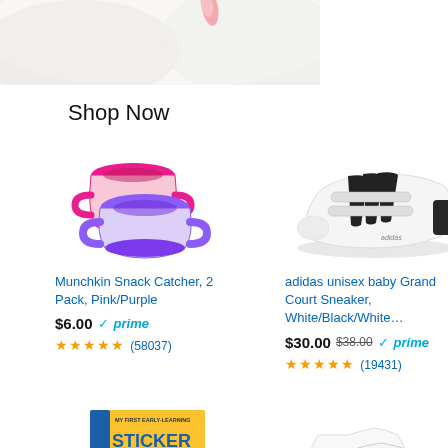[Figure (photo): Partial view of a white fluffy item with pink element at top]
Shop Now
[Figure (photo): Munchkin Snack Catcher cups in pink and purple, 2-pack]
Munchkin Snack Catcher, 2 Pack, Pink/Purple
$6.00 prime ★★★★★ (58037)
[Figure (photo): Adidas unisex baby Grand Court Sneaker in white/black/white]
adidas unisex baby Grand Court Sneaker, White/Black/White…
$30.00 $38.00 prime ★★★★★ (19431)
[Figure (photo): My First Early Learning Sticker Books]
[Figure (photo): White baby t-shirts multi-pack]